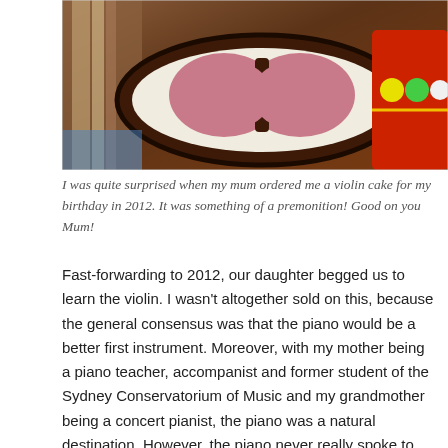[Figure (photo): A close-up photograph of a violin-shaped cake with pink and dark chocolate decorations, placed on a colorful surface with party decorations visible.]
I was quite surprised when my mum ordered me a violin cake for my birthday in 2012. It was something of a premonition! Good on you Mum!
Fast-forwarding to 2012, our daughter begged us to learn the violin. I wasn't altogether sold on this, because the general consensus was that the piano would be a better first instrument. Moreover, with my mother being a piano teacher, accompanist and former student of the Sydney Conservatorium of Music and my grandmother being a concert pianist, the piano was a natural destination. However, the piano never really spoke to me in the same way it moved my moher and grandmother and my cousin is a cellist. So, contrary to my upbringing, there were other instruments and